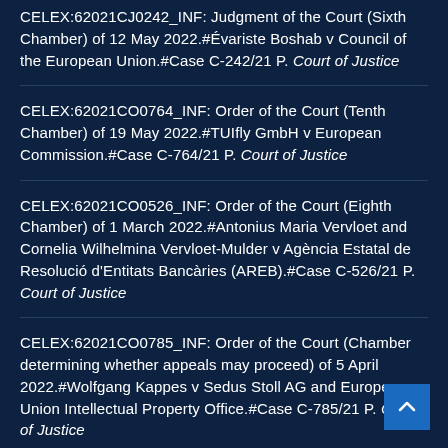CELEX:62021CJ0242_INF: Judgment of the Court (Sixth Chamber) of 12 May 2022.#Évariste Boshab v Council of the European Union.#Case C-242/21 P. Court of Justice
CELEX:62021CO0764_INF: Order of the Court (Tenth Chamber) of 19 May 2022.#TUIfly GmbH v European Commission.#Case C-764/21 P. Court of Justice
CELEX:62021CO0526_INF: Order of the Court (Eighth Chamber) of 1 March 2022.#Antonius Maria Vervloet and Cornelia Wilhelmina Vervloet-Mulder v Agència Estatal de Resolució d'Entitats Bancàries (AREB).#Case C-526/21 P. Court of Justice
CELEX:62021CO0785_INF: Order of the Court (Chamber determining whether appeals may proceed) of 5 April 2022.#Wolfgang Kappes v Sedus Stoll AG and European Union Intellectual Property Office.#Case C-785/21 P. Court of Justice